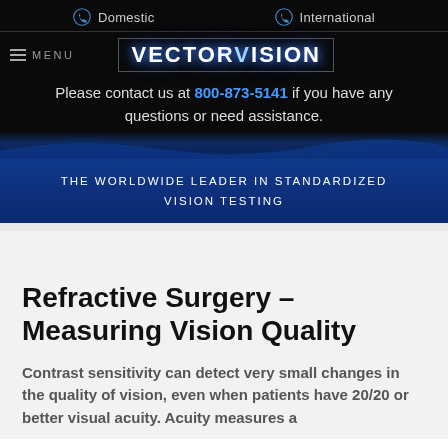Domestic   International
[Figure (logo): VectorVision logo with blue glow effect in bordered text]
Please contact us at 800-873-5141 if you have any questions or need assistance.
THE WORLDWIDE LEADER IN STANDARDIZED VISION TESTING
Refractive Surgery – Measuring Vision Quality
Contrast sensitivity can detect very small changes in the quality of vision, even when patients have 20/20 or better visual acuity. Acuity measures a